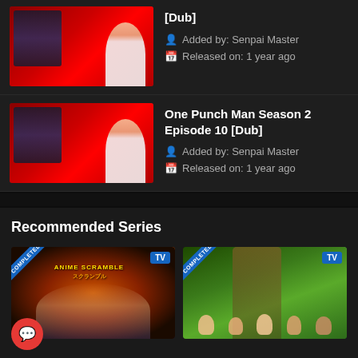[Figure (screenshot): Episode listing item for One Punch Man Season 2 Episode (truncated) Dub with thumbnail, added by Senpai Master, released 1 year ago]
[Dub]
Added by: Senpai Master
Released on: 1 year ago
[Figure (screenshot): Episode listing item for One Punch Man Season 2 Episode 10 Dub with thumbnail, added by Senpai Master, released 1 year ago]
One Punch Man Season 2 Episode 10 [Dub]
Added by: Senpai Master
Released on: 1 year ago
Recommended Series
[Figure (screenshot): Anime series card labeled COMPLETED with TV badge - appears to be an anime scramble/fighting series with orange/red background, character with blonde hair visible]
[Figure (screenshot): Anime series card labeled COMPLETED with TV badge - group of anime characters in outdoor/green setting]